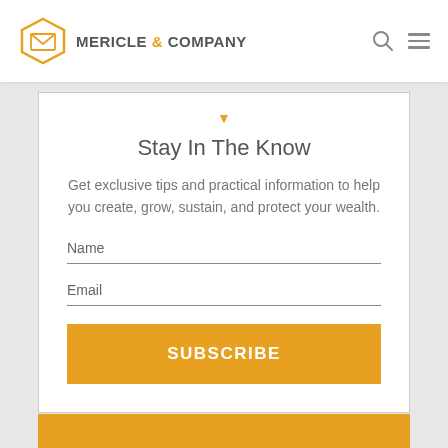MERICLE & COMPANY
Stay In The Know
Get exclusive tips and practical information to help you create, grow, sustain, and protect your wealth.
Name
Email
SUBSCRIBE